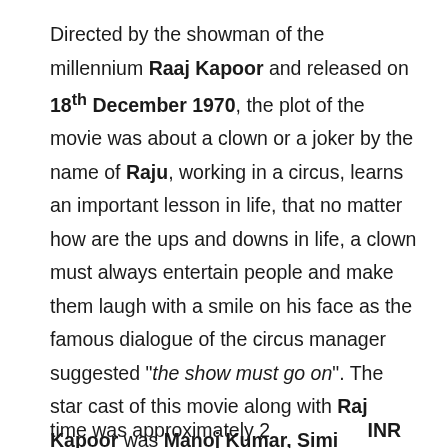Directed by the showman of the millennium Raaj Kapoor and released on 18th December 1970, the plot of the movie was about a clown or a joker by the name of Raju, working in a circus, learns an important lesson in life, that no matter how are the ups and downs in life, a clown must always entertain people and make them laugh with a smile on his face as the famous dialogue of the circus manager suggested "the show must go on". The star cast of this movie along with Raj Kapoor was Manoj Kumar, Simi Garewal, Achala Sachdev etc. Box Office collection of the movie at that time was approximately 2 INR